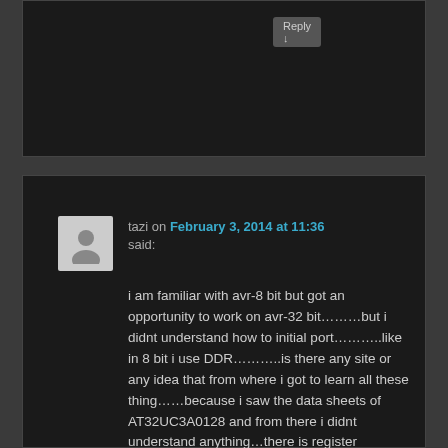Reply ↓
tazi on February 3, 2014 at 11:36 said:
i am familiar with avr-8 bit but got an opportunity to work on avr-32 bit………but i didnt understand how to initial port………..like in 8 bit i use DDR………..is there any site or any idea that from where i got to learn all these thing……because i saw the data sheets of AT32UC3A0128 and from there i didnt understand anything…there is register